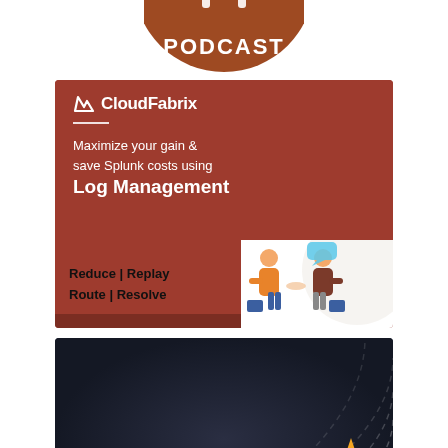[Figure (logo): Podcast badge circular logo in burnt orange/brown color with 'PODCAST' text and headphone icon]
[Figure (illustration): CloudFabrix advertisement banner with dark red background. Logo 'M CloudFabrix' at top, divider line, tagline 'Maximize your gain & save Splunk costs using Log Management', and two illustrated business people shaking hands. Bottom section shows 'Reduce | Replay Route | Resolve' text.]
[Figure (logo): Apache Spark advertisement banner with dark navy/black gradient background, white wave pattern, Apache Spark logo with star, and pepperdata logo at bottom left.]